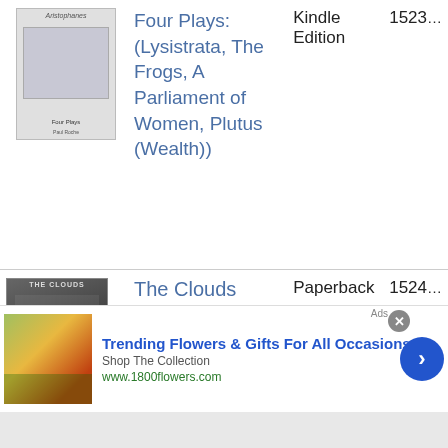| Cover | Title | Format | ID |
| --- | --- | --- | --- |
| [book cover image] | Four Plays: (Lysistrata, The Frogs, A Parliament of Women, Plutus (Wealth)) | Kindle Edition | 1523... |
| [book cover image] | The Clouds | Paperback | 1524... |
| [book cover image] | The Clouds | Paperback | 1798... |
[Figure (screenshot): Advertisement banner for 1800flowers.com: 'Trending Flowers & Gifts For All Occasions', Shop The Collection, www.1800flowers.com, with photo of woman holding flowers and a blue circular arrow button]